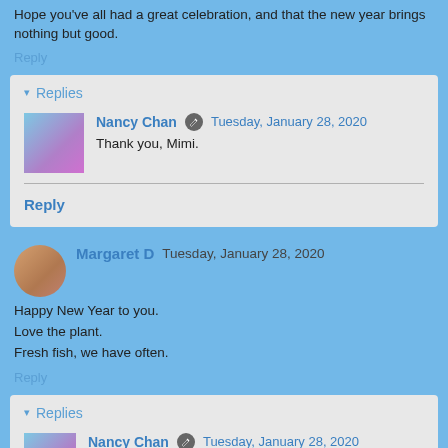Hope you've all had a great celebration, and that the new year brings nothing but good.
Reply
Replies
Nancy Chan  Tuesday, January 28, 2020
Thank you, Mimi.
Reply
Margaret D  Tuesday, January 28, 2020
Happy New Year to you.
Love the plant.
Fresh fish, we have often.
Reply
Replies
Nancy Chan  Tuesday, January 28, 2020